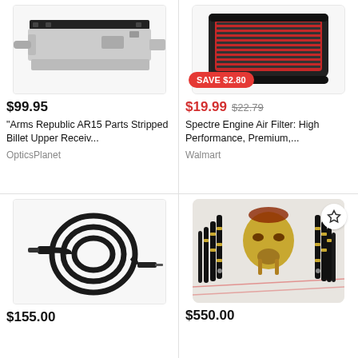[Figure (photo): AR15 stripped billet upper receiver part on white background]
$99.95
"Arms Republic AR15 Parts Stripped Billet Upper Receiv...
OpticsPlanet
[Figure (photo): Spectre engine air filter, red and black, with SAVE $2.80 badge]
$19.99  $22.79
Spectre Engine Air Filter: High Performance, Premium,...
Walmart
[Figure (photo): Black coiled audio/instrument cable with 1/4 inch jack on white background]
$155.00
[Figure (photo): Predator movie mask/helmet replica with gold and black dreadlocks, detailed resin figure]
$550.00